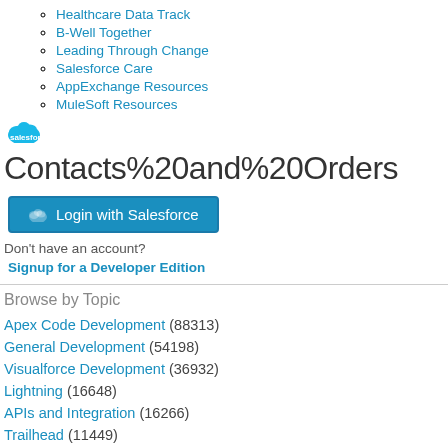Healthcare Data Track
B-Well Together
Leading Through Change
Salesforce Care
AppExchange Resources
MuleSoft Resources
Contacts%20and%20Orders
[Figure (logo): Salesforce cloud logo above the page title]
Login with Salesforce
Don't have an account?
Signup for a Developer Edition
Browse by Topic
Apex Code Development (88313)
General Development (54198)
Visualforce Development (36932)
Lightning (16648)
APIs and Integration (16266)
Trailhead (11449)
Formulas & Validation Rules Discussion (10868)
Other Salesforce Applications (7854)
Jobs Board (6626)
Force.com Sites & Site.com (4759)